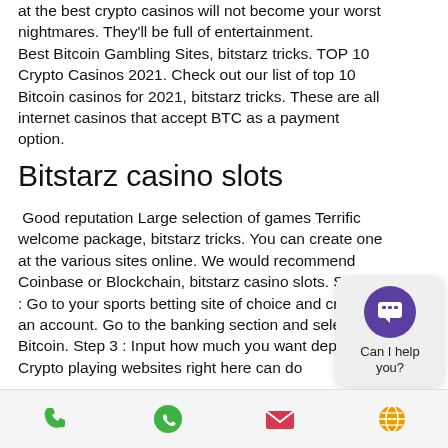at the best crypto casinos will not become your worst nightmares. They'll be full of entertainment.
Best Bitcoin Gambling Sites, bitstarz tricks. TOP 10 Crypto Casinos 2021. Check out our list of top 10 Bitcoin casinos for 2021, bitstarz tricks. These are all internet casinos that accept BTC as a payment option.
Bitstarz casino slots
Good reputation Large selection of games Terrific welcome package, bitstarz tricks. You can create one at the various sites online. We would recommend Coinbase or Blockchain, bitstarz casino slots. Step 2 : Go to your sports betting site of choice and create an account. Go to the banking section and select Bitcoin. Step 3 : Input how much you want deposited.
Crypto playing websites right here can do
[Figure (other): Chat widget with 'Can I help you?' text and chat bubble icon]
Phone | WhatsApp | Email | Globe icons navigation bar